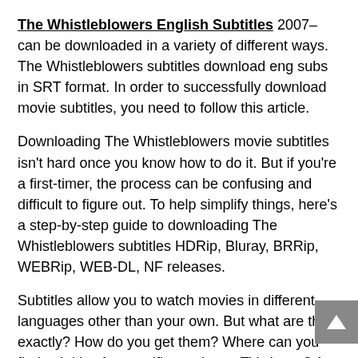The Whistleblowers English Subtitles 2007– can be downloaded in a variety of different ways. The Whistleblowers subtitles download eng subs in SRT format. In order to successfully download movie subtitles, you need to follow this article.
Downloading The Whistleblowers movie subtitles isn't hard once you know how to do it. But if you're a first-timer, the process can be confusing and difficult to figure out. To help simplify things, here's a step-by-step guide to downloading The Whistleblowers subtitles HDRip, Bluray, BRRip, WEBRip, WEB-DL, NF releases.
Subtitles allow you to watch movies in different languages other than your own. But what are they exactly? How do you get them? Where can you find subtitles for specific movies or TV shows? Are there any legal issues with using subtitles that I should be aware of? This post will address all of these questions and more!